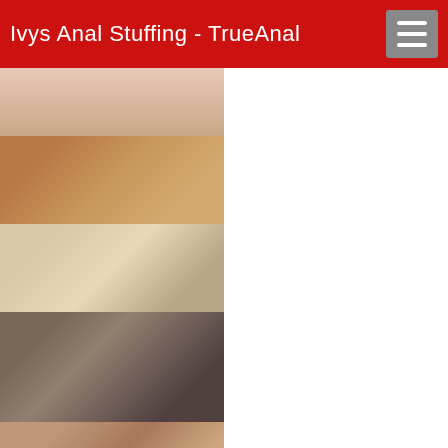Ivys Anal Stuffing - TrueAnal
[Figure (photo): Thumbnail image 1 - partial body shot]
[Figure (photo): Thumbnail image 2 - woman lying on bed in patterned dress]
[Figure (photo): Thumbnail image 3 - woman in white lingerie]
[Figure (photo): Thumbnail image 4 - woman in white top and patterned skirt bending over]
[Figure (photo): Thumbnail image 5 - blonde woman in black top]
[Figure (photo): Thumbnail image 6 - partial blonde hair shot]